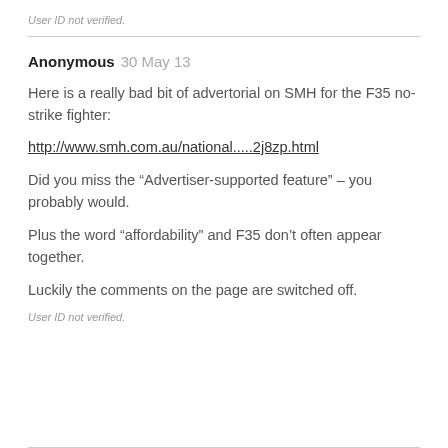User ID not verified.
Anonymous  30 May 13
Here is a really bad bit of advertorial on SMH for the F35 no-strike fighter:
http://www.smh.com.au/national.....2j8zp.html
Did you miss the “Advertiser-supported feature” – you probably would.
Plus the word “affordability” and F35 don’t often appear together.
Luckily the comments on the page are switched off.
User ID not verified.